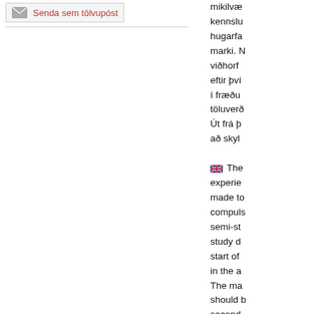Senda sem tölvupóst
mikilvæ... kennslu... hugarfa... marki. N... viðhorf ... eftir því ... í fræðu... töluverð... Út frá þ... að skyl...
[UK flag] The ... experie... made to... compuls... semi-st... study d... start of ... in the a... The ma... should b... second... ful...